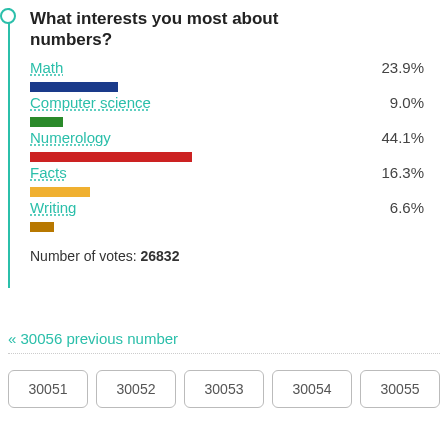[Figure (bar-chart): What interests you most about numbers?]
Number of votes: 26832
« 30056 previous number
30051
30052
30053
30054
30055